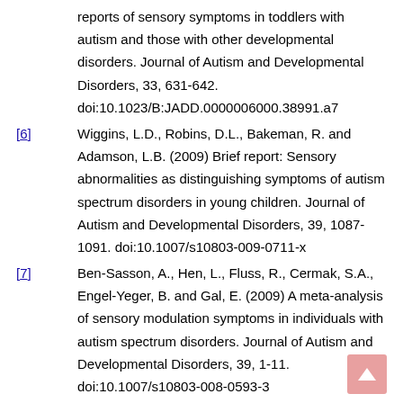reports of sensory symptoms in toddlers with autism and those with other developmental disorders. Journal of Autism and Developmental Disorders, 33, 631-642. doi:10.1023/B:JADD.0000006000.38991.a7
[6] Wiggins, L.D., Robins, D.L., Bakeman, R. and Adamson, L.B. (2009) Brief report: Sensory abnormalities as distinguishing symptoms of autism spectrum disorders in young children. Journal of Autism and Developmental Disorders, 39, 1087-1091. doi:10.1007/s10803-009-0711-x
[7] Ben-Sasson, A., Hen, L., Fluss, R., Cermak, S.A., Engel-Yeger, B. and Gal, E. (2009) A meta-analysis of sensory modulation symptoms in individuals with autism spectrum disorders. Journal of Autism and Developmental Disorders, 39, 1-11. doi:10.1007/s10803-008-0593-3
[8] Hitoglou, M., Ververi, A., Antoniadis, A. and Zafeiriou, D.I. (2010) Childhood autism and auditory system abnormalities.